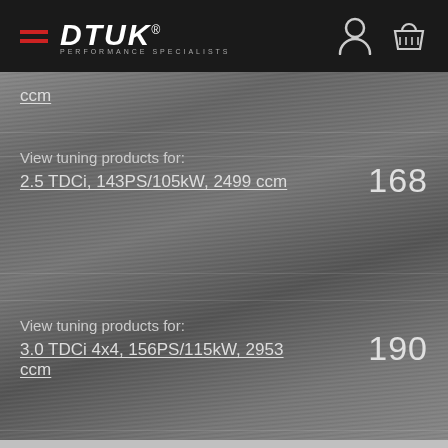DTUK PERFORMANCE SPECIALISTS
ccm
View tuning products for:
2.5 TDCi, 143PS/105kW, 2499 ccm
168
View tuning products for:
3.0 TDCi 4x4, 156PS/115kW, 2953 ccm
190
View tuning products for:
3.0 TDCi, 156PS/115kW, 2953 ccm
190